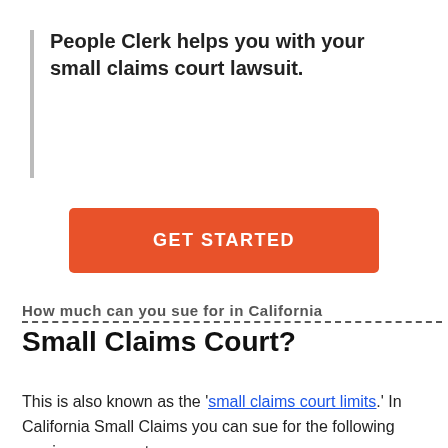People Clerk helps you with your small claims court lawsuit.
GET STARTED
How much can you sue for in California Small Claims Court?
This is also known as the 'small claims court limits.' In California Small Claims you can sue for the following maximum amounts:
California Small Claims Court Limits
Individuals and Sole Proprietors
$10,000
Corporations and LLCs